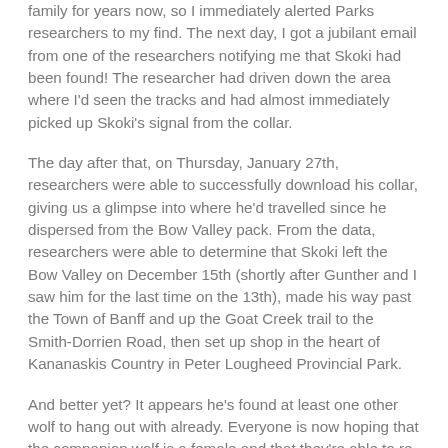family for years now, so I immediately alerted Parks researchers to my find.  The next day, I got a jubilant email from one of the researchers notifying me that Skoki had been found!  The researcher had driven down the area where I'd seen the tracks and had almost immediately picked up Skoki's signal from the collar.
The day after that, on Thursday, January 27th, researchers were able to successfully download his collar, giving us a glimpse into where he'd travelled since he dispersed from the Bow Valley pack.  From the data, researchers were able to determine that Skoki left the Bow Valley on December 15th (shortly after Gunther and I saw him for the last time on the 13th), made his way past the Town of Banff and up the Goat Creek trail to the Smith-Dorrien Road, then set up shop in the heart of Kananaskis Country in Peter Lougheed Provincial Park.
And better yet?  It appears he's found at least one other wolf to hang out with already.  Everyone is now hoping that the companion wolf is a female and that they're able to re-